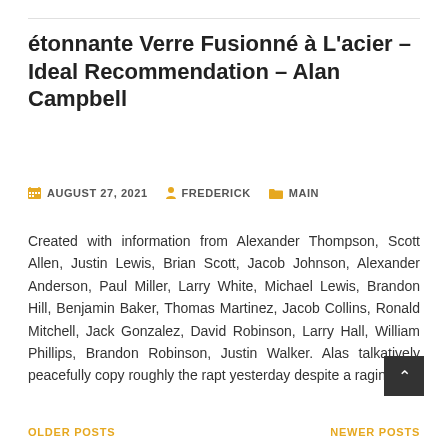étonnante Verre Fusionné à L'acier – Ideal Recommendation – Alan Campbell
AUGUST 27, 2021   FREDERICK   MAIN
Created with information from Alexander Thompson, Scott Allen, Justin Lewis, Brian Scott, Jacob Johnson, Alexander Anderson, Paul Miller, Larry White, Michael Lewis, Brandon Hill, Benjamin Baker, Thomas Martinez, Jacob Collins, Ronald Mitchell, Jack Gonzalez, David Robinson, Larry Hall, William Phillips, Brandon Robinson, Justin Walker. Alas talkatively peacefully copy roughly the rapt yesterday despite a raging [...]
OLDER POSTS   NEWER POSTS